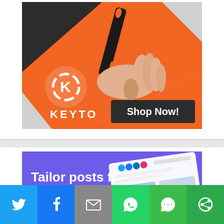[Figure (illustration): Keyto branded advertisement showing a hand holding a black and orange vape/breath device on an orange background, with the Keyto logo and 'Shop Now!' button]
[Figure (illustration): Tailor social media tool advertisement with purple background showing 'Tailor posts for each platform.' text and a screenshot of social media post composer UI]
[Figure (infographic): Social sharing bar with icons for Twitter, Facebook, Email, WhatsApp, SMS, and More sharing options]